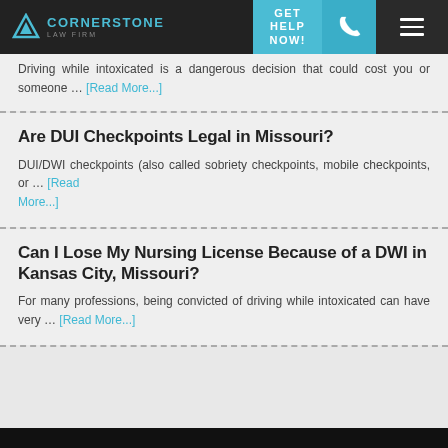[Figure (logo): Cornerstone Law Firm logo with triangle icon]
Driving while intoxicated is a dangerous decision that could cost you or someone … [Read More...]
Are DUI Checkpoints Legal in Missouri?
DUI/DWI checkpoints (also called sobriety checkpoints, mobile checkpoints, or … [Read More...]
Can I Lose My Nursing License Because of a DWI in Kansas City, Missouri?
For many professions, being convicted of driving while intoxicated can have very … [Read More...]